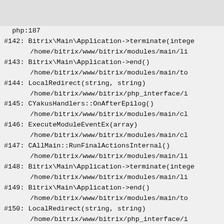[Figure (screenshot): Top bar with partially visible image or logo content and text 'max 1.0m or something' and a real estate logo on the right]
php:187
#142: Bitrix\Main\Application->terminate(intege
       /home/bitrix/www/bitrix/modules/main/li
#143: Bitrix\Main\Application->end()
       /home/bitrix/www/bitrix/modules/main/to
#144: LocalRedirect(string, string)
       /home/bitrix/www/bitrix/php_interface/i
#145: CYakusHandlers::OnAfterEpilog()
       /home/bitrix/www/bitrix/modules/main/cl
#146: ExecuteModuleEventEx(array)
       /home/bitrix/www/bitrix/modules/main/cl
#147: CAllMain::RunFinalActionsInternal()
       /home/bitrix/www/bitrix/modules/main/li
#148: Bitrix\Main\Application->terminate(intege
       /home/bitrix/www/bitrix/modules/main/li
#149: Bitrix\Main\Application->end()
       /home/bitrix/www/bitrix/modules/main/to
#150: LocalRedirect(string, string)
       /home/bitrix/www/bitrix/php_interface/i